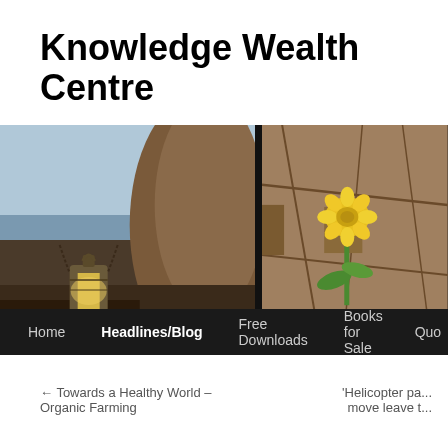Knowledge Wealth Centre
[Figure (photo): Two-panel hero image: left panel shows a vintage oil lantern glowing near rocks at a lakeside at dusk; right panel shows a yellow dandelion flower growing through cracked dry earth.]
Home  Headlines/Blog  Free Downloads  Books for Sale  Quo...
← Towards a Healthy World – Organic Farming
'Helicopter pa... move leave t...